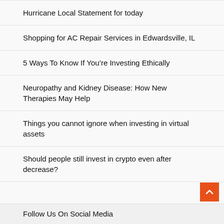Hurricane Local Statement for today
Shopping for AC Repair Services in Edwardsville, IL
5 Ways To Know If You're Investing Ethically
Neuropathy and Kidney Disease: How New Therapies May Help
Things you cannot ignore when investing in virtual assets
Should people still invest in crypto even after decrease?
Follow Us On Social Media